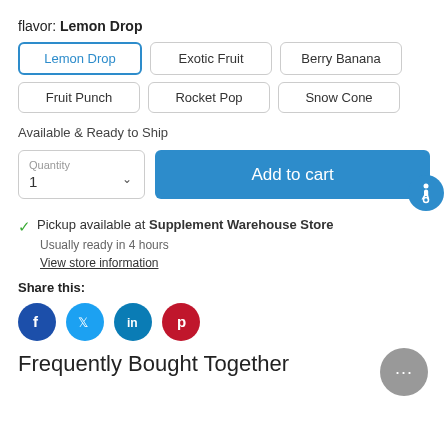flavor: Lemon Drop
Lemon Drop (selected)
Exotic Fruit
Berry Banana
Fruit Punch
Rocket Pop
Snow Cone
Available & Ready to Ship
Quantity 1 | Add to cart
Pickup available at Supplement Warehouse Store
Usually ready in 4 hours
View store information
Share this:
[Figure (infographic): Social sharing icons: Facebook, Twitter, LinkedIn, Pinterest]
Frequently Bought Together